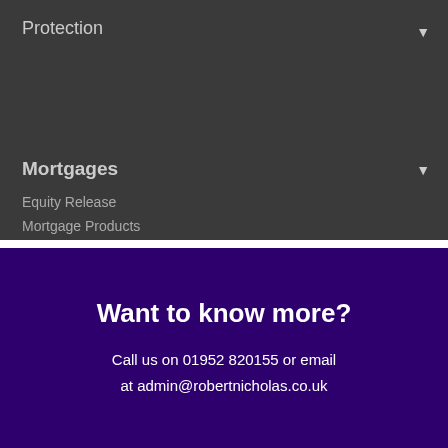Protection
Our site uses cookies. By continuing to use our site you are agreeing to our cookies policy.
ACCEPT & CLOSE
Mortgages
Equity Release
Mortgage Products
Want to know more?
Call us on 01952 820155 or email at admin@robertnicholas.co.uk